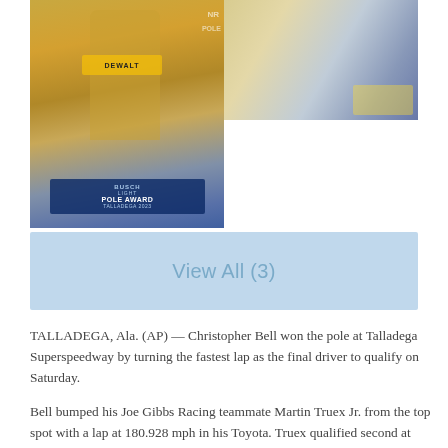[Figure (photo): Two photos side by side: left photo shows a NASCAR driver in a yellow DeWalt suit holding a Busch Light Pole Award sign at Talladega 2023; right photo shows a partial view of another racing scene.]
[Figure (screenshot): View All (3) button in light blue]
TALLADEGA, Ala. (AP) — Christopher Bell won the pole at Talladega Superspeedway by turning the fastest lap as the final driver to qualify on Saturday.
Bell bumped his Joe Gibbs Racing teammate Martin Truex Jr. from the top spot with a lap at 180.928 mph in his Toyota. Truex qualified second at 180.652 mph to give JGR the front row for Sunday's race.
JGR is coming off a win last Sunday with Kyle Busch